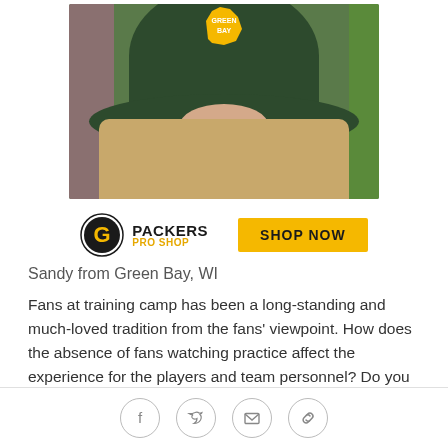[Figure (photo): Person wearing a dark green Green Bay Packers bucket hat with a yellow Wisconsin state shape logo, face tilted down, with blonde hair, leaning against a wall with green grass in background]
[Figure (logo): Green Bay Packers Pro Shop logo (G helmet icon with PACKERS in bold and PRO SHOP in yellow below) alongside a yellow SHOP NOW button]
Sandy from Green Bay, WI
Fans at training camp has been a long-standing and much-loved tradition from the fans' viewpoint. How does the absence of fans watching practice affect the experience for the players and team personnel? Do you feel practicing in front of a crowd affords any positive return for the team as opposed to only having closed
[Figure (infographic): Social media sharing icons: Facebook, Twitter, email/envelope, and link/chain icon, arranged in a row at the bottom]